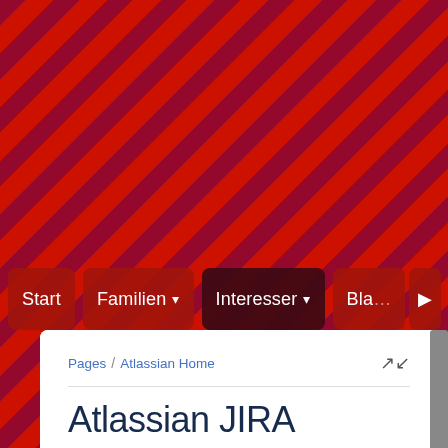[Figure (screenshot): Website screenshot showing a red and purple striped background with navigation menu buttons (Start, Familien, Interesser, Bla...) and a content panel showing the Atlassian JIRA wiki page with breadcrumb navigation, title, metadata, and two-column content area.]
Start  Familien  Interesser  Bla...
Pages / Atlassian Home
Atlassian JIRA
Created by Normann P. Nielsen, last modified on 22-07-2021
What is JIRA from Atlassian.com ?
JIRA is an interesting system, now a days
Passed Certifications
Jira Service Desk